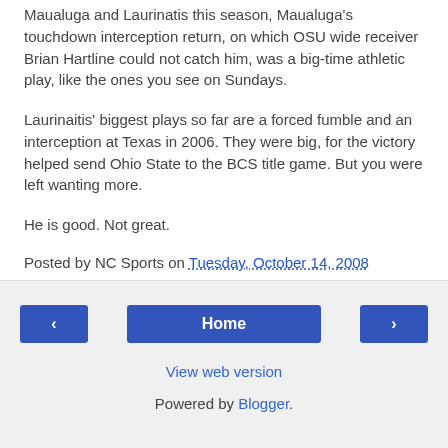Maualuga and Laurinatis this season, Maualuga's touchdown interception return, on which OSU wide receiver Brian Hartline could not catch him, was a big-time athletic play, like the ones you see on Sundays.
Laurinaitis' biggest plays so far are a forced fumble and an interception at Texas in 2006. They were big, for the victory helped send Ohio State to the BCS title game. But you were left wanting more.
He is good. Not great.
Posted by NC Sports on Tuesday, October 14, 2008
Home | View web version | Powered by Blogger.